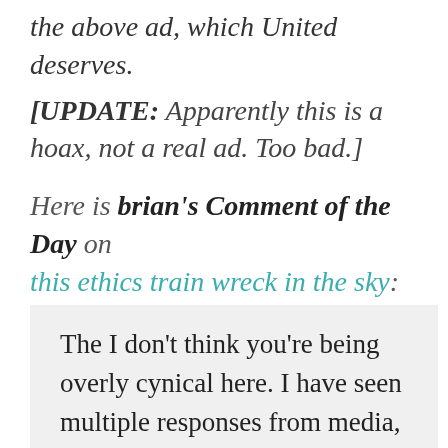the above ad, which United deserves.
[UPDATE: Apparently this is a hoax, not a real ad. Too bad.]
Here is brian's Comment of the Day on this ethics train wreck in the sky:
The I don't think you're being overly cynical here. I have seen multiple responses from media, … the CEO all…